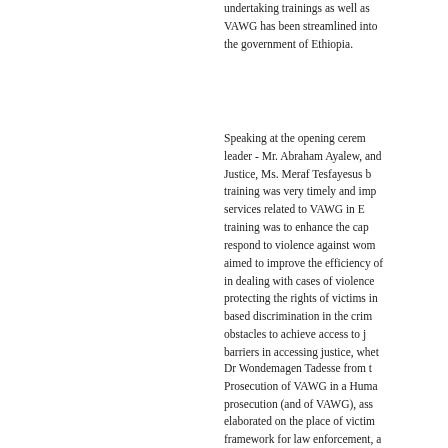undertaking trainings as well as VAWG has been streamlined into the government of Ethiopia.
Speaking at the opening ceremony, leader - Mr. Abraham Ayalew, and Justice, Ms. Meraf Tesfayesus b training was very timely and imp services related to VAWG in E training was to enhance the cap respond to violence against wom aimed to improve the efficiency of in dealing with cases of violence protecting the rights of victims in based discrimination in the crim obstacles to achieve access to j barriers in accessing justice, whet
Dr Wondemagen Tadesse from t Prosecution of VAWG in a Huma prosecution (and of VAWG), ass elaborated on the place of victim framework for law enforcement, a cases of VAWG. Ms. Anchinesh S